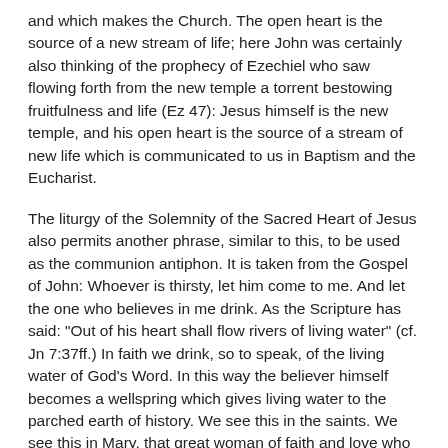and which makes the Church. The open heart is the source of a new stream of life; here John was certainly also thinking of the prophecy of Ezechiel who saw flowing forth from the new temple a torrent bestowing fruitfulness and life (Ez 47): Jesus himself is the new temple, and his open heart is the source of a stream of new life which is communicated to us in Baptism and the Eucharist.
The liturgy of the Solemnity of the Sacred Heart of Jesus also permits another phrase, similar to this, to be used as the communion antiphon. It is taken from the Gospel of John: Whoever is thirsty, let him come to me. And let the one who believes in me drink. As the Scripture has said: "Out of his heart shall flow rivers of living water" (cf. Jn 7:37ff.) In faith we drink, so to speak, of the living water of God's Word. In this way the believer himself becomes a wellspring which gives living water to the parched earth of history. We see this in the saints. We see this in Mary, that great woman of faith and love who has become in every generation a wellspring of faith, love and life. Every Christian and every priest should become, starting from Christ, a wellspring which gives life to others. We ought to be offering life-giving water to a parched